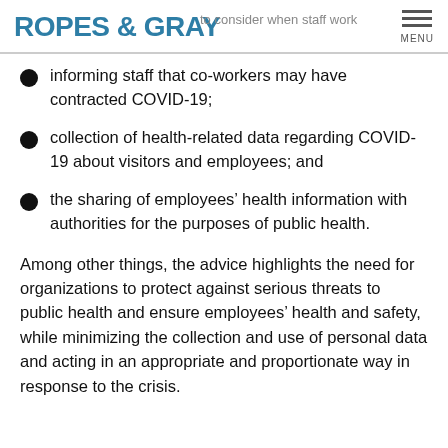ROPES & GRAY | to consider when staff work
informing staff that co-workers may have contracted COVID-19;
collection of health-related data regarding COVID-19 about visitors and employees; and
the sharing of employees' health information with authorities for the purposes of public health.
Among other things, the advice highlights the need for organizations to protect against serious threats to public health and ensure employees' health and safety, while minimizing the collection and use of personal data and acting in an appropriate and proportionate way in response to the crisis.